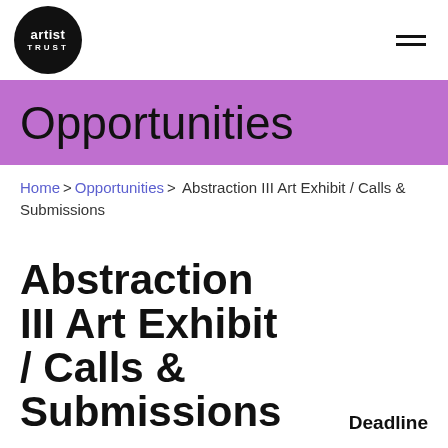artist TRUST
Opportunities
Home > Opportunities > Abstraction III Art Exhibit / Calls & Submissions
Abstraction III Art Exhibit / Calls & Submissions
Deadline